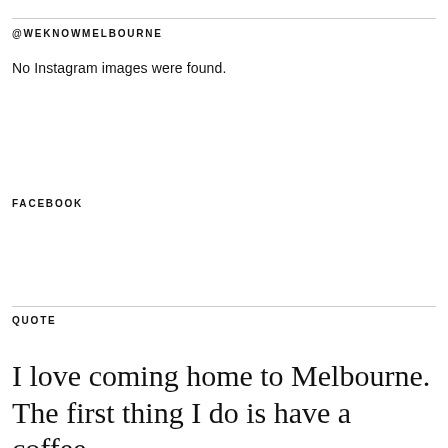@WEKNOWMELBOURNE
No Instagram images were found.
FACEBOOK
QUOTE
I love coming home to Melbourne. The first thing I do is have a coffee...